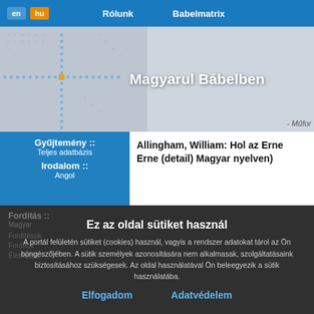en | hu  Rólunk  Babelmatrix
[Figure (logo): Magyarul Bábelben website header banner with blue dotted cross logo and site title text]
- Műfor
Gyűjtemény :: Teljes adatbázis  Irodalom :: Angol
Allingham, William: Hol az Erne Erne (detail) Magyar nyelven)
Ez az oldal sütiket használ
A portál felületén sütiket (cookies) használ, vagyis a rendszer adatokat tárol az Ön böngészőjében. A sütik személyek azonosítására nem alkalmasak, szolgáltatásaink biztosításához szükségesek. Az oldal használatával Ön beleegyezik a sütik használatába.
Elfogadom  Adatvédelem